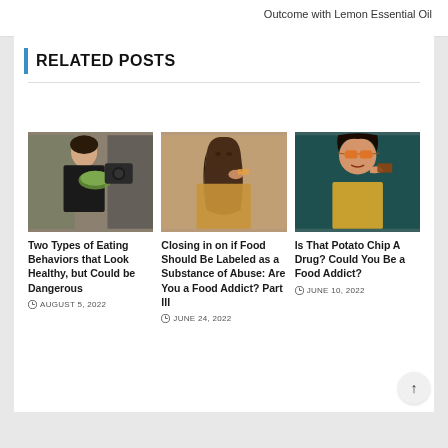Outcome with Lemon Essential Oil
RELATED POSTS
[Figure (photo): Woman holding salad greens near a camera, food blogger style photo]
Two Types of Eating Behaviors that Look Healthy, but Could be Dangerous
AUGUST 5, 2022
[Figure (photo): Young woman eating a snack, looking up, warm beige background]
Closing in on if Food Should Be Labeled as a Substance of Abuse: Are You a Food Addict? Part III
JUNE 24, 2022
[Figure (photo): Woman with orange sunglasses eating food, teal/dark background]
Is That Potato Chip A Drug? Could You Be a Food Addict?
JUNE 10, 2022